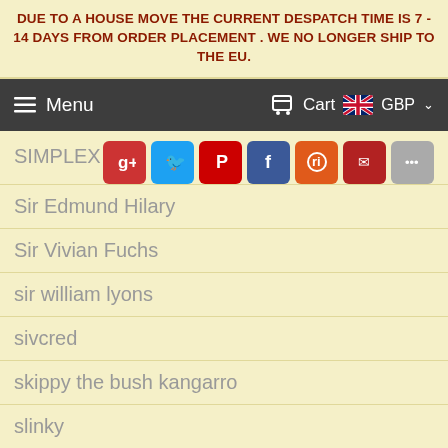DUE TO A HOUSE MOVE THE CURRENT DESPATCH TIME IS 7 - 14 DAYS FROM ORDER PLACEMENT . WE NO LONGER SHIP TO THE EU.
≡ Menu   Cart  GBP
SIMPLEX
Sir Edmund Hilary
Sir Vivian Fuchs
sir william lyons
sivcred
skippy the bush kangarro
slinky
smartphone
smartphone separation anxiety
smelly girls
smirch-a